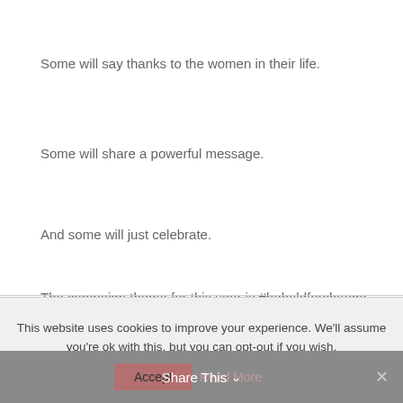Some will say thanks to the women in their life.
Some will share a powerful message.
And some will just celebrate.
The campaign theme for this year is #beboldforchange
This website uses cookies to improve your experience. We'll assume you're ok with this, but you can opt-out if you wish.
Accept  Read More  Share This  ×